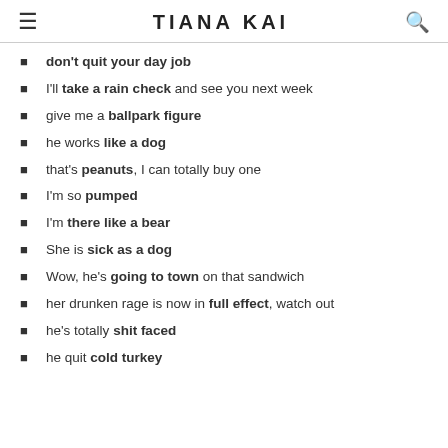TIANA KAI
don't quit your day job
I'll take a rain check and see you next week
give me a ballpark figure
he works like a dog
that's peanuts, I can totally buy one
I'm so pumped
I'm there like a bear
She is sick as a dog
Wow, he's going to town on that sandwich
her drunken rage is now in full effect, watch out
he's totally shit faced
he quit cold turkey